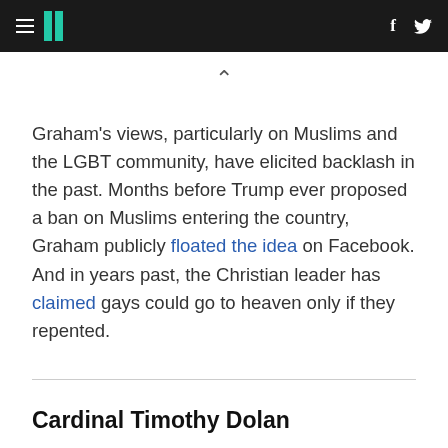HuffPost navigation bar with logo, hamburger menu, Facebook and Twitter icons
Graham's views, particularly on Muslims and the LGBT community, have elicited backlash in the past. Months before Trump ever proposed a ban on Muslims entering the country, Graham publicly floated the idea on Facebook. And in years past, the Christian leader has claimed gays could go to heaven only if they repented.
Cardinal Timothy Dolan